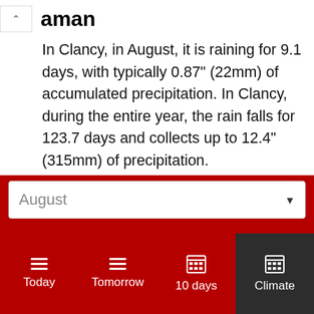...aman
In Clancy, in August, it is raining for 9.1 days, with typically 0.87" (22mm) of accumulated precipitation. In Clancy, during the entire year, the rain falls for 123.7 days and collects up to 12.4" (315mm) of precipitation.
Snowfall
In Clancy, snow does not fall in June through August.
Daylight